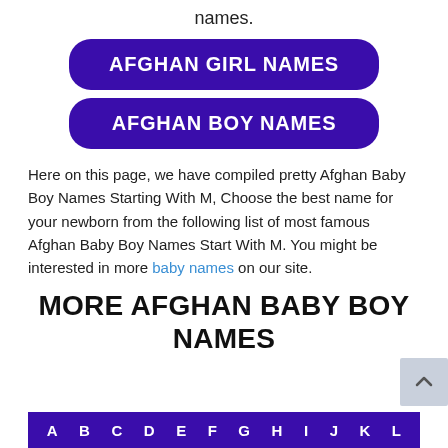names.
AFGHAN GIRL NAMES
AFGHAN BOY NAMES
Here on this page, we have compiled pretty Afghan Baby Boy Names Starting With M, Choose the best name for your newborn from the following list of most famous Afghan Baby Boy Names Start With M. You might be interested in more baby names on our site.
MORE AFGHAN BABY BOY NAMES
A B C D E F G H I J K L